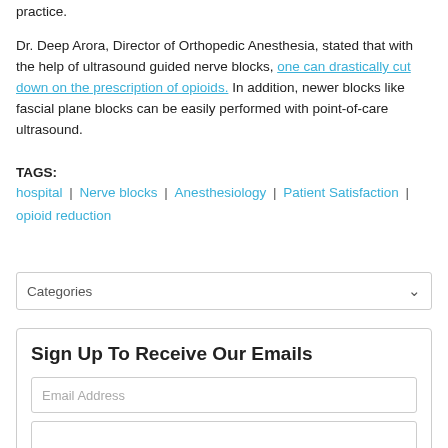practice.
Dr. Deep Arora, Director of Orthopedic Anesthesia, stated that with the help of ultrasound guided nerve blocks, one can drastically cut down on the prescription of opioids. In addition, newer blocks like fascial plane blocks can be easily performed with point-of-care ultrasound.
TAGS:
hospital | Nerve blocks | Anesthesiology | Patient Satisfaction | opioid reduction
Categories
Sign Up To Receive Our Emails
Email Address